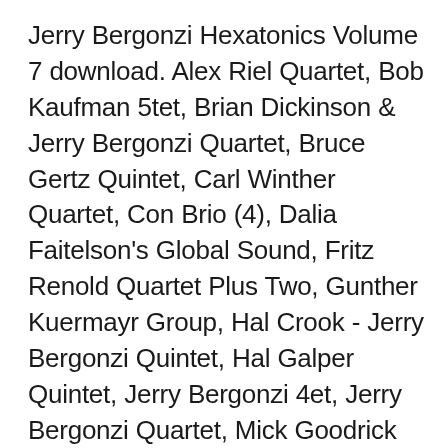Jerry Bergonzi Hexatonics Volume 7 download. Alex Riel Quartet, Bob Kaufman 5tet, Brian Dickinson & Jerry Bergonzi Quartet, Bruce Gertz Quintet, Carl Winther Quartet, Con Brio (4), Dalia Faitelson's Global Sound, Fritz Renold Quartet Plus Two, Gunther Kuermayr Group, Hal Crook - Jerry Bergonzi Quintet, Hal Galper Quintet, Jerry Bergonzi 4et, Jerry Bergonzi Quartet, Mick Goodrick Quartet, For All Instruments. By Jerry Bergonzi. Book & CD. Inside Improvisation Series, Vol. 3: Jazz Line is a clear and practical step-by-step approach to chromaticism, line playing, and voice leading. The CD contains 23 play-along tracks (most of them played in two tempos), based on standard chord progressions, performed by a professional rhythm section.